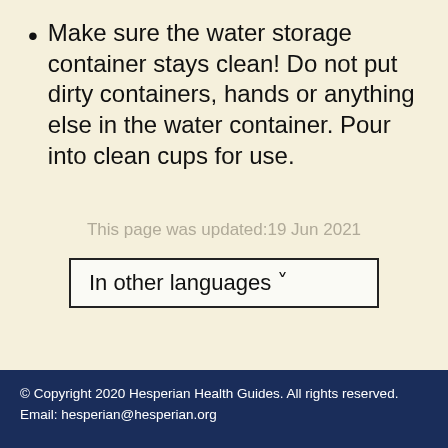Make sure the water storage container stays clean! Do not put dirty containers, hands or anything else in the water container. Pour into clean cups for use.
This page was updated:19 Jun 2021
In other languages ˅
© Copyright 2020 Hesperian Health Guides. All rights reserved. Email: hesperian@hesperian.org